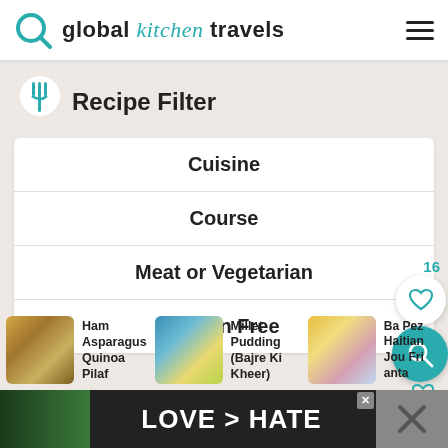global kitchen travels
Recipe Filter
Cuisine
Course
Meat or Vegetarian
Gluten Free
Ham Asparagus Quinoa Pilaf
Millet Pudding (Bajre Ki Kheer)
Ba Pez Haitian Jou Fri anta
[Figure (screenshot): Ad banner showing hands making heart shape with text LOVE > HATE]
LOVE > HATE